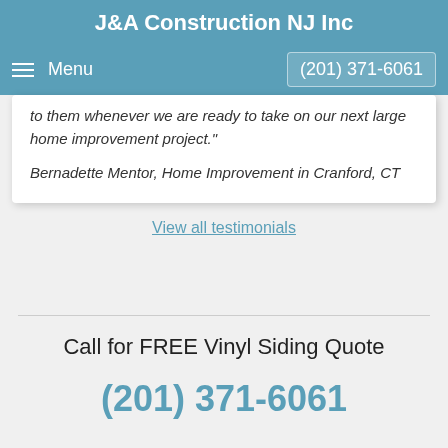J&A Construction NJ Inc
Menu   (201) 371-6061
to them whenever we are ready to take on our next large home improvement project."
Bernadette Mentor, Home Improvement in Cranford, CT
View all testimonials
Call for FREE Vinyl Siding Quote
(201) 371-6061